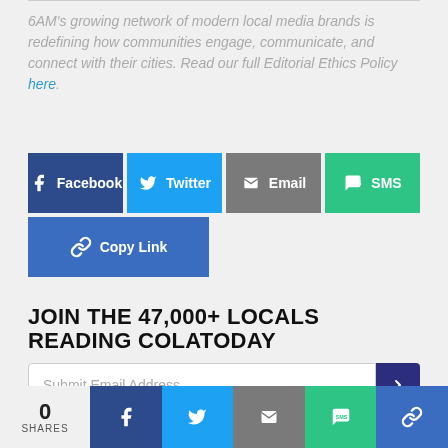6AM's growing network of modern local media brands is redefining how communities engage, communicate, and connect with their cities. Read our full Editorial Ethics Policy here.
[Figure (infographic): Social share buttons: Facebook (dark blue), Twitter (light blue), Email (gray), SMS (green), Copy Link (blue)]
JOIN THE 47,000+ LOCALS READING COLATODAY
[Figure (infographic): Email submission form with text field 'Submit Email Address' and dark blue arrow button]
[Figure (infographic): Bottom sticky share bar: 0 SHARES count, Facebook, Twitter, Email, SMS, Copy Link buttons]